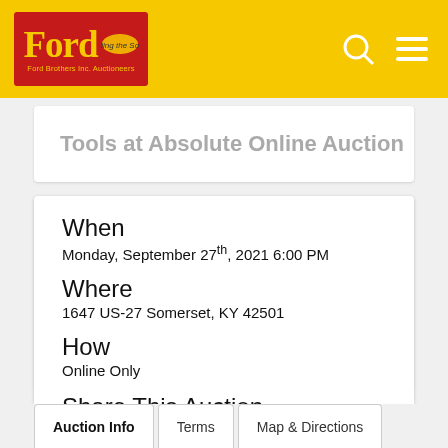Ford Brothers Inc. Auctioneers
Tools at Absolute Online Auction
When
Monday, September 27th, 2021 6:00 PM
Where
1647 US-27 Somerset, KY 42501
How
Online Only
Share This Auction
[Figure (other): Social sharing icons: Facebook, Twitter, Pinterest, Email, Add to Calendar]
Auction Info | Terms | Map & Directions